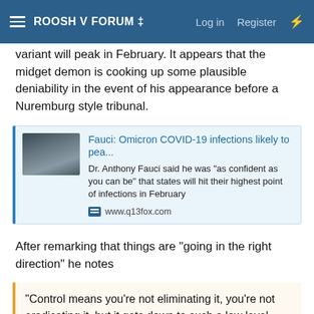ROOSH V FORUM ‡  Log in  Register
variant will peak in February. It appears that the midget demon is cooking up some plausible deniability in the event of his appearance before a Nuremburg style tribunal.
[Figure (screenshot): Link card for article: Fauci: Omicron COVID-19 infections likely to pea... with description 'Dr. Anthony Fauci said he was "as confident as you can be" that states will hit their highest point of infections in February' and source www.q13fox.com]
After remarking that things are “going in the right direction” he notes
“Control means you’re not eliminating it, you’re not eradicating it, but it gets down to such a low level, that it’s essentially integrated into the general respiratory infections that we have learned to live with.... We’d like it to get down to that level